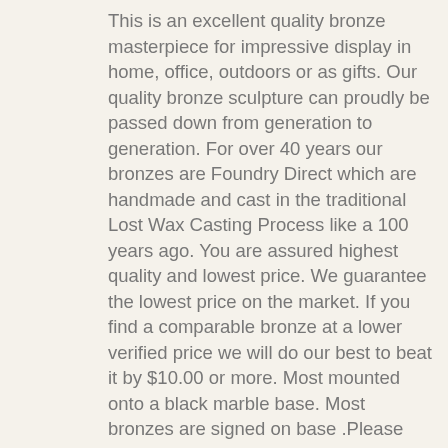This is an excellent quality bronze masterpiece for impressive display in home, office, outdoors or as gifts. Our quality bronze sculpture can proudly be passed down from generation to generation. For over 40 years our bronzes are Foundry Direct which are handmade and cast in the traditional Lost Wax Casting Process like a 100 years ago. You are assured highest quality and lowest price. We guarantee the lowest price on the market. If you find a comparable bronze at a lower verified price we will do our best to beat it by $10.00 or more. Most mounted onto a black marble base. Most bronzes are signed on base .Please click on the thumbnail images above to see additional views of this detailed artwork, and then click on any image to enlarge it. We guarantee your satisfaction. If there are any questions please call so you can speak with a helpful, friendly and knowledgeable sales staff at Toll Free 1-866-870-5071